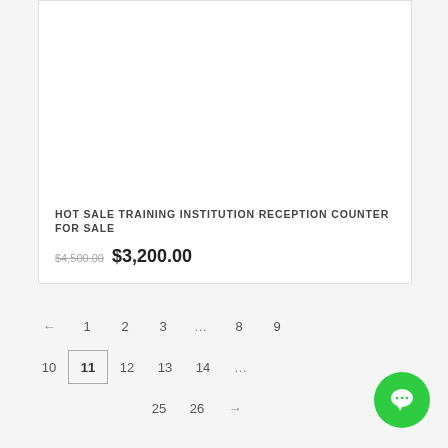[Figure (photo): Product card for a training institution reception counter, white card with border, image area at top (blank/white in this crop), title and price at bottom]
HOT SALE TRAINING INSTITUTION RECEPTION COUNTER FOR SALE
$4,500.00 $3,200.00
← 1 2 3 ... 8 9
10 11 12 13 14 ...
25 26 →